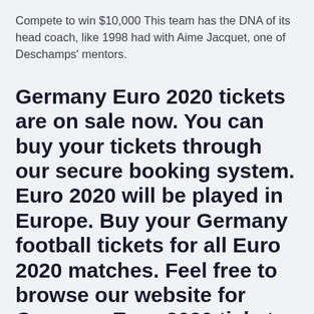Compete to win $10,000 This team has the DNA of its head coach, like 1998 had with Aime Jacquet, one of Deschamps' mentors.
Germany Euro 2020 tickets are on sale now. You can buy your tickets through our secure booking system. Euro 2020 will be played in Europe. Buy your Germany football tickets for all Euro 2020 matches. Feel free to browse our website for Germany Euro 2020 tickets for all upcoming group stage games.